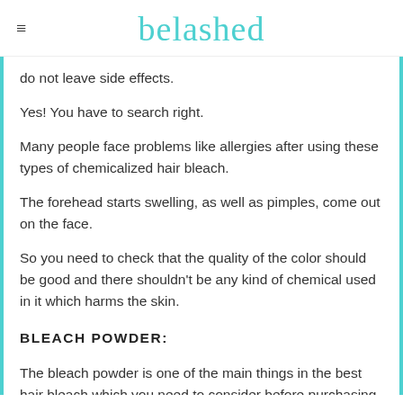belashed
do not leave side effects.
Yes! You have to search right.
Many people face problems like allergies after using these types of chemicalized hair bleach.
The forehead starts swelling, as well as pimples, come out on the face.
So you need to check that the quality of the color should be good and there shouldn't be any kind of chemical used in it which harms the skin.
BLEACH POWDER:
The bleach powder is one of the main things in the best hair bleach which you need to consider before purchasing a hair